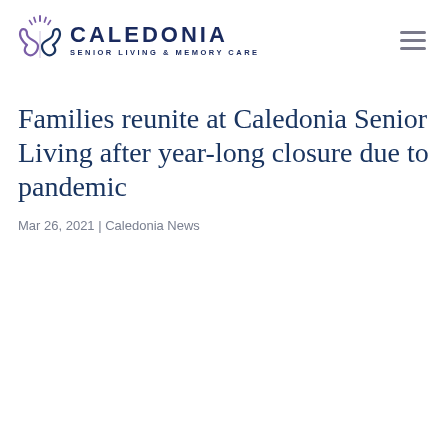Caledonia Senior Living & Memory Care
Families reunite at Caledonia Senior Living after year-long closure due to pandemic
Mar 26, 2021 | Caledonia News